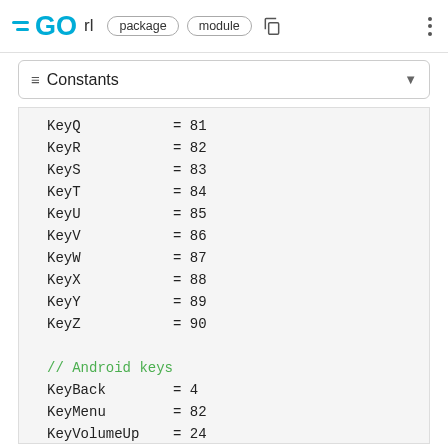GO rl  package  module
≡ Constants
KeyQ         = 81
KeyR         = 82
KeyS         = 83
KeyT         = 84
KeyU         = 85
KeyV         = 86
KeyW         = 87
KeyX         = 88
KeyY         = 89
KeyZ         = 90

// Android keys
KeyBack      = 4
KeyMenu      = 82
KeyVolumeUp  = 24
KeyVolumeDown = 25